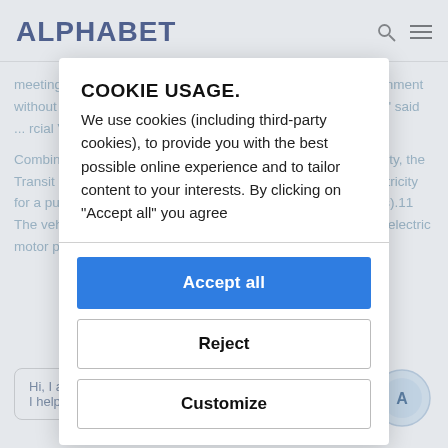ALPHABET
meeting the challenges of operating in today's business environment without sacrificing practicality or payload. And ... nt, tech ... ent," said ... rcial Vehi...
Combining zero-emission driving capability and no range anxiety, the Transit Custom Plug-in Hybrid can be charged with mains electricity for a pure electric NEDC driving range of up to 56 km (35 miles).11 The vehicle's front wheels are driven exclusively by a 92.9 kW electric motor powered by a 13.6 kWh lithium-ion battery pack.
COOKIE USAGE.
We use cookies (including third-party cookies), to provide you with the best possible online experience and to tailor content to your interests. By clicking on "Accept all" you agree
Accept all
Reject
Customize
Hi, I am Alphie. How can I help you?